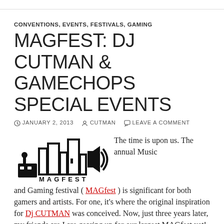CONVENTIONS, EVENTS, FESTIVALS, GAMING
MAGFEST: DJ CUTMAN & GAMECHOPS SPECIAL EVENTS
JANUARY 2, 2013   CUTMAN   LEAVE A COMMENT
[Figure (logo): MAGfest logo: black silhouette of cityscape with joystick and speaker icon, with text MAGFEST]
The time is upon us. The annual Music and Gaming festival ( MAGfest ) is significant for both gamers and artists. For one, it's where the original inspiration for Dj CUTMAN was conceived. Now, just three years later, my friends are I are gearing up for our largest MAGfest yet!